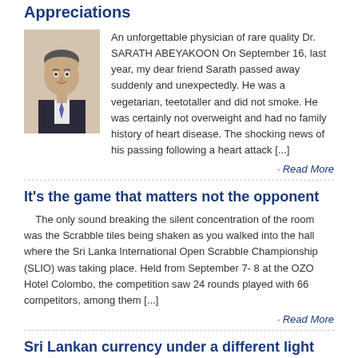Appreciations
[Figure (photo): Portrait photo of a middle-aged man in a suit and tie]
An unforgettable physician of rare quality Dr. SARATH ABEYAKOON On September 16, last year, my dear friend Sarath passed away suddenly and unexpectedly. He was a vegetarian, teetotaller and did not smoke. He was certainly not overweight and had no family history of heart disease. The shocking news of his passing following a heart attack [...]
· Read More
It's the game that matters not the opponent
The only sound breaking the silent concentration of the room was the Scrabble tiles being shaken as you walked into the hall where the Sri Lanka International Open Scrabble Championship (SLIO) was taking place. Held from September 7- 8 at the OZO Hotel Colombo, the competition saw 24 rounds played with 66 competitors, among them [...]
· Read More
Sri Lankan currency under a different light
UV printing or images that are only visible under Ultra Violet illumination is a